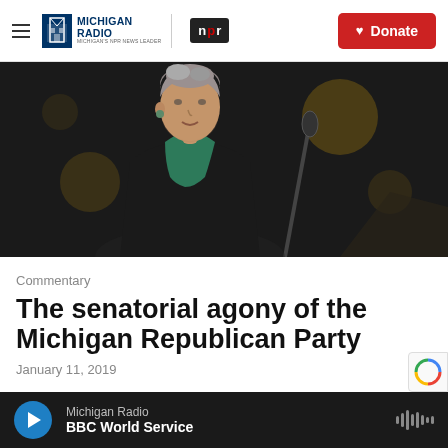Michigan Radio | NPR | Donate
[Figure (photo): Woman with short gray hair speaking at a podium with a microphone, wearing a black blazer and green blouse, photographed against a dark background with bokeh lights]
Commentary
The senatorial agony of the Michigan Republican Party
January 11, 2019
Michigan Radio | BBC World Service